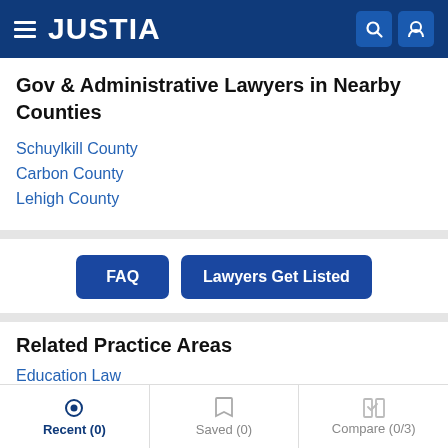JUSTIA
Gov & Administrative Lawyers in Nearby Counties
Schuylkill County
Carbon County
Lehigh County
FAQ
Lawyers Get Listed
Related Practice Areas
Education Law
Recent (0)   Saved (0)   Compare (0/3)